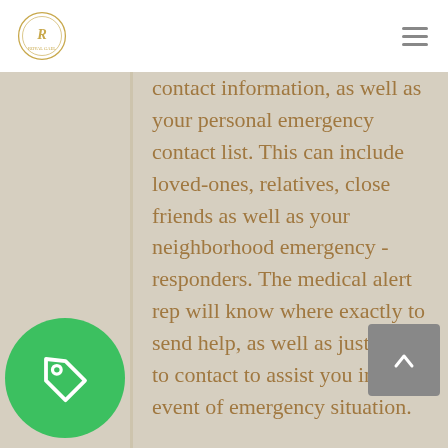Royal Gael logo and navigation menu
contact information, as well as your personal emergency contact list. This can include loved-ones, relatives, close friends as well as your neighborhood emergency - responders. The medical alert rep will know where exactly to send help, as well as just who to contact to assist you in the event of emergency situation.

As soon as an individual requires help, or medical care, they simply press on the help button located on the system. Next, the medical alert
[Figure (logo): Green circle with a tag/label icon in white]
[Figure (other): Gray scroll-to-top button with upward chevron arrow]